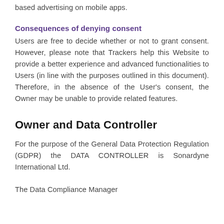based advertising on mobile apps.
Consequences of denying consent
Users are free to decide whether or not to grant consent. However, please note that Trackers help this Website to provide a better experience and advanced functionalities to Users (in line with the purposes outlined in this document). Therefore, in the absence of the User's consent, the Owner may be unable to provide related features.
Owner and Data Controller
For the purpose of the General Data Protection Regulation (GDPR) the DATA CONTROLLER is Sonardyne International Ltd.
The Data Compliance Manager